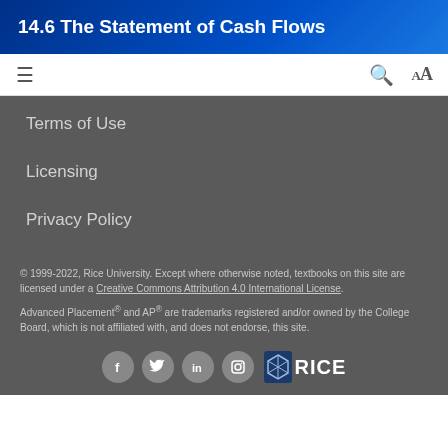14.6 The Statement of Cash Flows
Terms of Use
Licensing
Privacy Policy
© 1999-2022, Rice University. Except where otherwise noted, textbooks on this site are licensed under a Creative Commons Attribution 4.0 International License.
Advanced Placement® and AP® are trademarks registered and/or owned by the College Board, which is not affiliated with, and does not endorse, this site.
[Figure (logo): Social media icons (Facebook, Twitter, LinkedIn, Instagram) and Rice University logo]